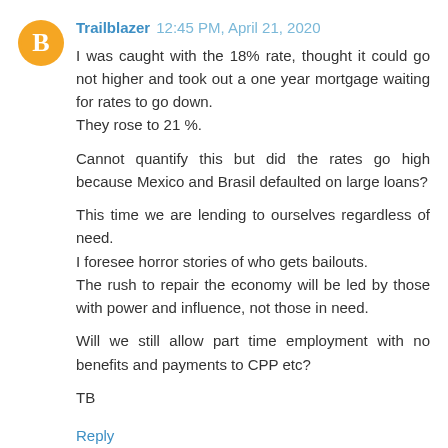[Figure (other): Orange circle avatar with white blogger 'B' icon]
Trailblazer 12:45 PM, April 21, 2020
I was caught with the 18% rate, thought it could go not higher and took out a one year mortgage waiting for rates to go down.
They rose to 21 %.
Cannot quantify this but did the rates go high because Mexico and Brasil defaulted on large loans?
This time we are lending to ourselves regardless of need.
I foresee horror stories of who gets bailouts.
The rush to repair the economy will be led by those with power and influence, not those in need.
Will we still allow part time employment with no benefits and payments to CPP etc?
TB
Reply